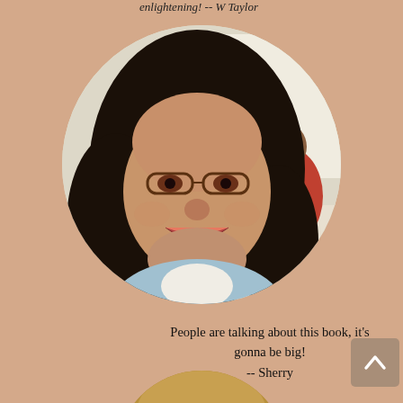enlightening! -- W Taylor
[Figure (photo): Circular cropped portrait photo of a smiling woman with dark curly hair and glasses, wearing a light blue top, with another person visible in the background]
People are talking about this book, it's gonna be big! -- Sherry
[Figure (photo): Partial circular cropped photo at the bottom of the page, showing a warm-toned image, likely another person portrait]